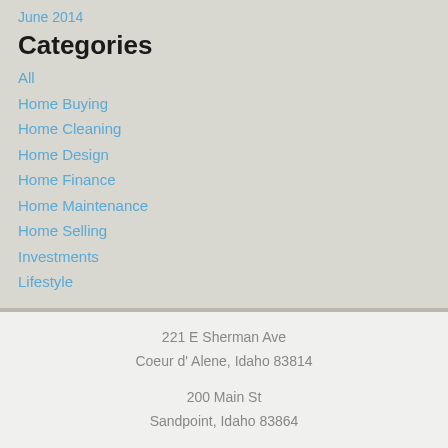June 2014
Categories
All
Home Buying
Home Cleaning
Home Design
Home Finance
Home Maintenance
Home Selling
Investments
Lifestyle
RSS Feed
221 E Sherman Ave
Coeur d' Alene, Idaho 83814
200 Main St
Sandpoint, Idaho 83864